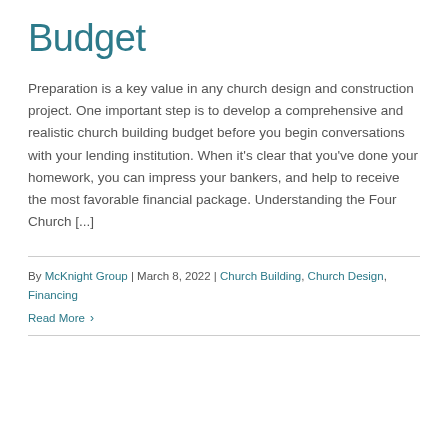Budget
Preparation is a key value in any church design and construction project. One important step is to develop a comprehensive and realistic church building budget before you begin conversations with your lending institution. When it's clear that you've done your homework, you can impress your bankers, and help to receive the most favorable financial package. Understanding the Four Church [...]
By McKnight Group | March 8, 2022 | Church Building, Church Design, Financing
Read More ›